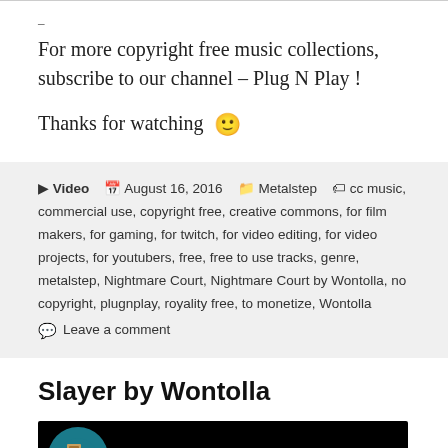–
For more copyright free music collections, subscribe to our channel – Plug N Play !
Thanks for watching 🙂
▶ Video  📅 August 16, 2016  📁 Metalstep  🏷 cc music, commercial use, copyright free, creative commons, for film makers, for gaming, for twitch, for video editing, for video projects, for youtubers, free, free to use tracks, genre, metalstep, Nightmare Court, Nightmare Court by Wontolla, no copyright, plugnplay, royality free, to monetize, Wontolla
💬 Leave a comment
Slayer by Wontolla
[Figure (screenshot): Video thumbnail showing 'Slayer by Wontolla - Electro - N' with dark background and circular album art icon]